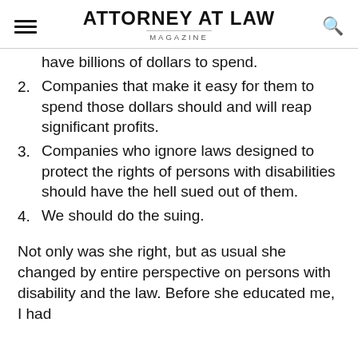ATTORNEY AT LAW MAGAZINE
have billions of dollars to spend.
2. Companies that make it easy for them to spend those dollars should and will reap significant profits.
3. Companies who ignore laws designed to protect the rights of persons with disabilities should have the hell sued out of them.
4. We should do the suing.
Not only was she right, but as usual she changed by entire perspective on persons with disability and the law. Before she educated me, I had